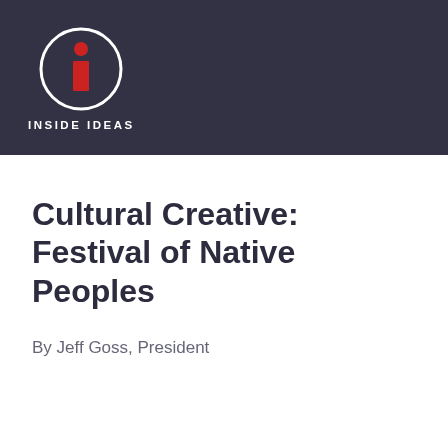[Figure (logo): Inside Ideas logo: a red 'i' letter with a circular dot on top, enclosed in a white circle, on a dark navy background, with 'INSIDE IDEAS' text below in white capitals]
Cultural Creative: Festival of Native Peoples
By Jeff Goss, President